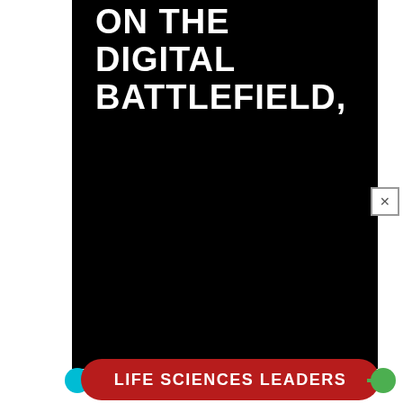ON THE DIGITAL BATTLEFIELD,
[Figure (illustration): Black panel background filling most of the page area]
LIFE SCIENCES LEADERS